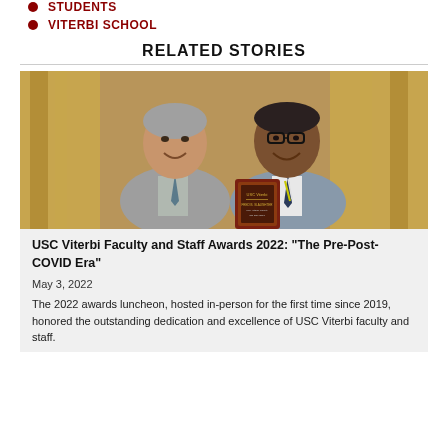STUDENTS
VITERBI SCHOOL
RELATED STORIES
[Figure (photo): Two men in suits posing together indoors; one holding a USC Viterbi award plaque. Background features golden curtains.]
USC Viterbi Faculty and Staff Awards 2022: “The Pre-Post-COVID Era”
May 3, 2022
The 2022 awards luncheon, hosted in-person for the first time since 2019, honored the outstanding dedication and excellence of USC Viterbi faculty and staff.